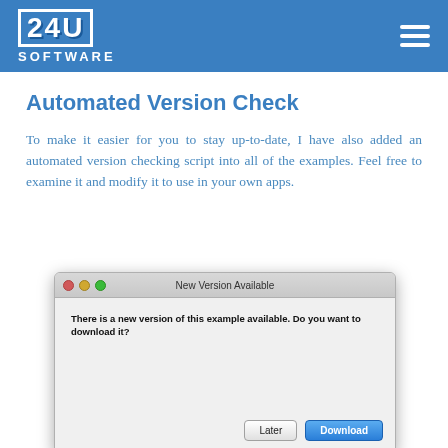[Figure (screenshot): 24U Software logo and navigation header bar with blue background, hamburger menu icon on right]
Automated Version Check
To make it easier for you to stay up-to-date, I have also added an automated version checking script into all of the examples. Feel free to examine it and modify it to use in your own apps.
[Figure (screenshot): macOS dialog box titled 'New Version Available' with message 'There is a new version of this example available. Do you want to download it?' and two buttons: 'Later' and 'Download']